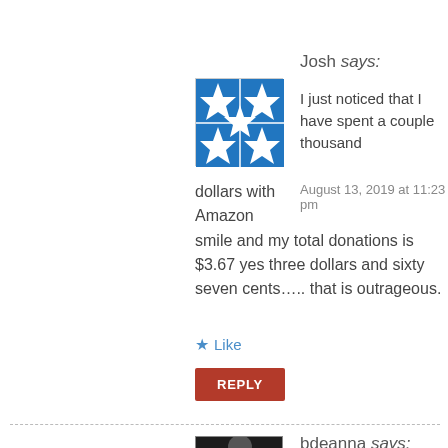[Figure (illustration): Blue and white geometric star/cross pattern avatar icon for user Josh]
Josh says:
I just noticed that I have spent a couple thousand dollars with Amazon
August 13, 2019 at 11:23 pm
smile and my total donations is $3.67 yes three dollars and sixty seven cents….. that is outrageous.
★ Like
REPLY
[Figure (photo): Small dark avatar photo for user bdeanna]
bdeanna says:
The...